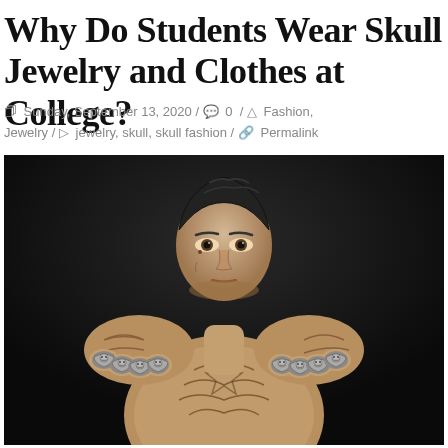Why Do Students Wear Skull Jewelry and Clothes at College?
Sunday, September 13, 2020 / 0 / Fashion, Jewelry / jewelry, skull, skull fashion / Permalink
[Figure (photo): A shirtless tattooed young man with a undercut hairstyle holding both fists toward the camera, each finger wearing silver skull rings. Dark background.]